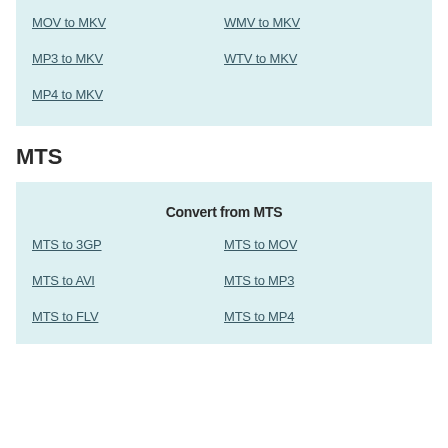MOV to MKV
WMV to MKV
MP3 to MKV
WTV to MKV
MP4 to MKV
MTS
Convert from MTS
MTS to 3GP
MTS to MOV
MTS to AVI
MTS to MP3
MTS to FLV
MTS to MP4